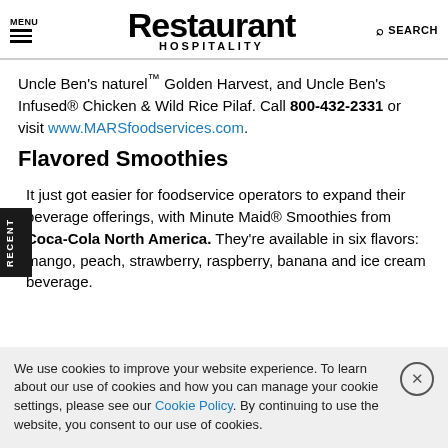MENU | Restaurant Hospitality | SEARCH
Uncle Ben's naturel™ Golden Harvest, and Uncle Ben's Infused® Chicken & Wild Rice Pilaf. Call 800-432-2331 or visit www.MARSfoodservices.com.
Flavored Smoothies
It just got easier for foodservice operators to expand their beverage offerings, with Minute Maid® Smoothies from Coca-Cola North America. They're available in six flavors: mango, peach, strawberry, raspberry, banana and ice cream beverage.
We use cookies to improve your website experience. To learn about our use of cookies and how you can manage your cookie settings, please see our Cookie Policy. By continuing to use the website, you consent to our use of cookies.